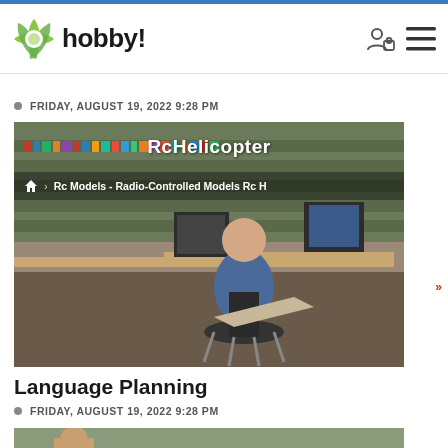hobby!
FRIDAY, AUGUST 19, 2022 9:28 PM
[Figure (photo): Man sitting in an office chair with feet up, reading a newspaper in a library/office setting with bookshelves. Breadcrumb overlay reads: Rc Models - Radio-Controlled Models Rc H. Title overlay reads: RcHelicopter]
Language Planning
FRIDAY, AUGUST 19, 2022 9:28 PM
[Figure (photo): Partial photo of a person at the bottom of the page, cropped]